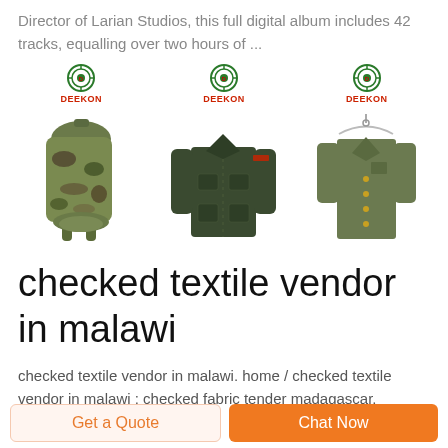Director of Larian Studios, this full digital album includes 42 tracks, equalling over two hours of ...
[Figure (photo): Three product images with Deekon logo: camouflage military backpack, dark olive military jacket, and olive military dress jacket on hanger]
checked textile vendor in malawi
checked textile vendor in malawi. home / checked textile vendor in malawi ; checked fabric tender madagascar.